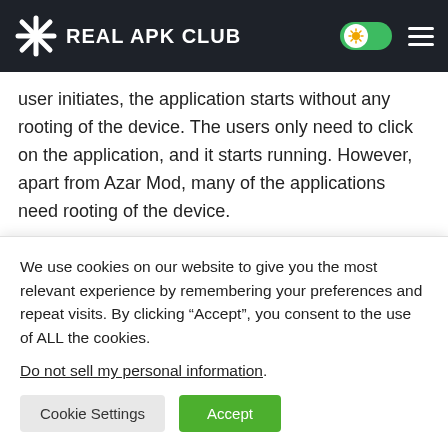REAL APK CLUB
user initiates, the application starts without any rooting of the device. The users only need to click on the application, and it starts running. However, apart from Azar Mod, many of the applications need rooting of the device.
Premium Features
One of the fantastic features of the application is
We use cookies on our website to give you the most relevant experience by remembering your preferences and repeat visits. By clicking “Accept”, you consent to the use of ALL the cookies.
Do not sell my personal information.